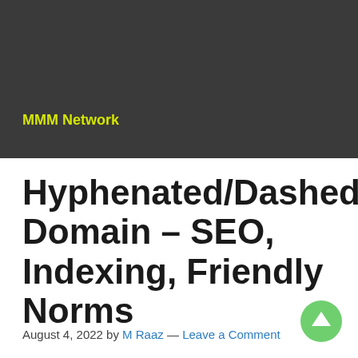[Figure (other): Dark banner image with MMM Network logo text in yellow-green on dark gray background]
Hyphenated/Dashed Domain – SEO, Indexing, Friendly Norms
August 4, 2022 by M Raaz — Leave a Comment